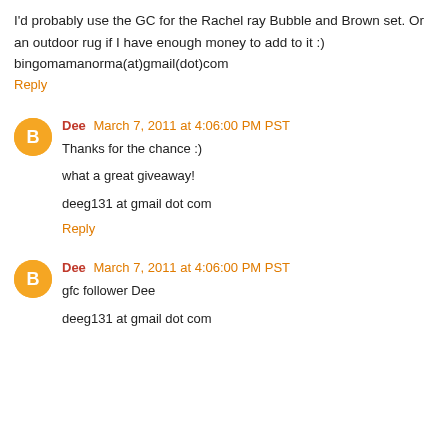I'd probably use the GC for the Rachel ray Bubble and Brown set. Or an outdoor rug if I have enough money to add to it :)
bingomamanorma(at)gmail(dot)com
Reply
Dee March 7, 2011 at 4:06:00 PM PST
Thanks for the chance :)

what a great giveaway!

deeg131 at gmail dot com
Reply
Dee March 7, 2011 at 4:06:00 PM PST
gfc follower Dee

deeg131 at gmail dot com